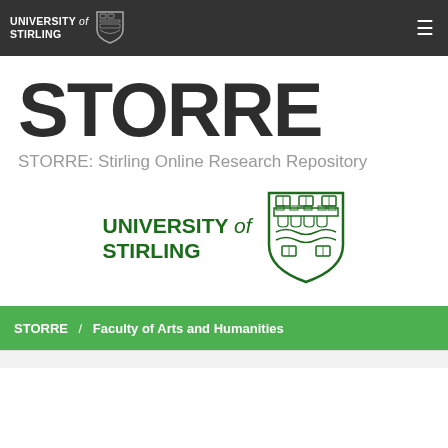UNIVERSITY of STIRLING [logo/shield]
STORRE
STORRE: Stirling Online Research Repository
[Figure (logo): University of Stirling green logo with shield/crest]
STORRE / Faculty of Arts and Humanities